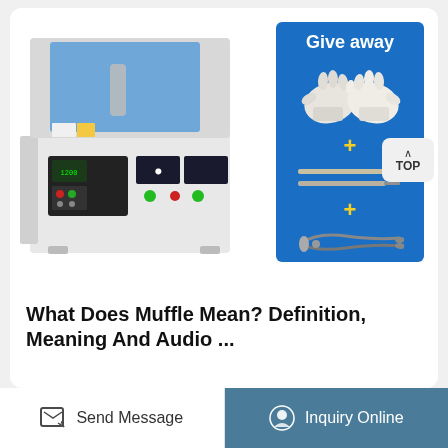[Figure (photo): Muffle furnace laboratory equipment with blue chamber door and control panel, alongside a blue promotional card showing 'Give away' with heat-resistant gloves, thermocouple probes, and tongs accessories]
What Does Muffle Mean? Definition, Meaning And Audio ...
Send Message
Inquiry Online